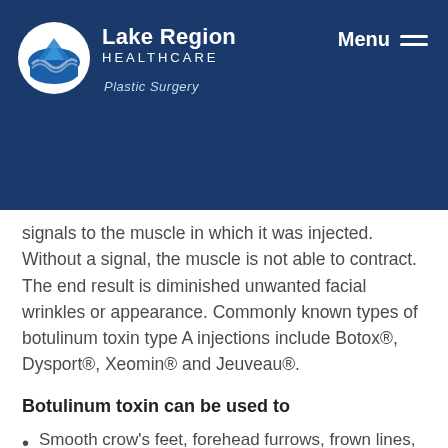Lake Region Healthcare – Plastic Surgery | Menu
signals to the muscle in which it was injected. Without a signal, the muscle is not able to contract. The end result is diminished unwanted facial wrinkles or appearance. Commonly known types of botulinum toxin type A injections include Botox®, Dysport®, Xeomin® and Jeuveau®.
Botulinum toxin can be used to
Smooth crow's feet, forehead furrows, frown lines, lip lines and bunny lines
Diminish neck bands
Improve the appearance of skin dimpling of the chin
Lift the corners of the mouth